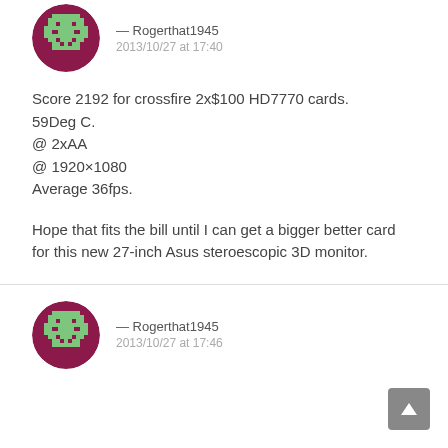[Figure (illustration): Pixel art avatar of Rogerthat1945 — circular, purple and green retro game character]
— Rogerthat1945
2013/10/27 at 17:40
Score 2192 for crossfire 2x$100 HD7770 cards.
59Deg C.
@ 2xAA
@ 1920×1080
Average 36fps.
Hope that fits the bill until I can get a bigger better card for this new 27-inch Asus steroescopic 3D monitor.
[Figure (illustration): Pixel art avatar of Rogerthat1945 — circular, purple and green retro game character]
— Rogerthat1945
2013/10/27 at 17:46